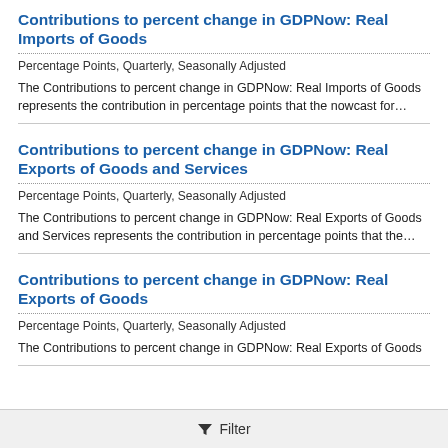Contributions to percent change in GDPNow: Real Imports of Goods
Percentage Points, Quarterly, Seasonally Adjusted
The Contributions to percent change in GDPNow: Real Imports of Goods represents the contribution in percentage points that the nowcast for…
Contributions to percent change in GDPNow: Real Exports of Goods and Services
Percentage Points, Quarterly, Seasonally Adjusted
The Contributions to percent change in GDPNow: Real Exports of Goods and Services represents the contribution in percentage points that the…
Contributions to percent change in GDPNow: Real Exports of Goods
Percentage Points, Quarterly, Seasonally Adjusted
The Contributions to percent change in GDPNow: Real Exports of Goods
Filter